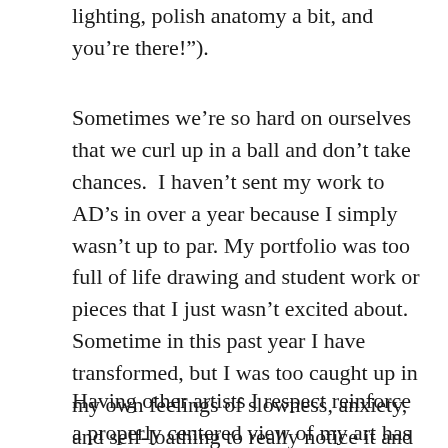lighting, polish anatomy a bit, and you're there!").
Sometimes we’re so hard on ourselves that we curl up in a ball and don’t take chances.  I haven’t sent my work to AD’s in over a year because I simply wasn’t up to par. My portfolio was too full of life drawing and student work or pieces that I just wasn’t excited about.  Sometime in this past year I have transformed, but I was too caught up in my own feelings of slowness, anxiety, and self-loathing to really notice it and PUSH my work where it needed to be pushed so that I could improve.
Having other artists I respect reinforce a properly centered view of my art has been so